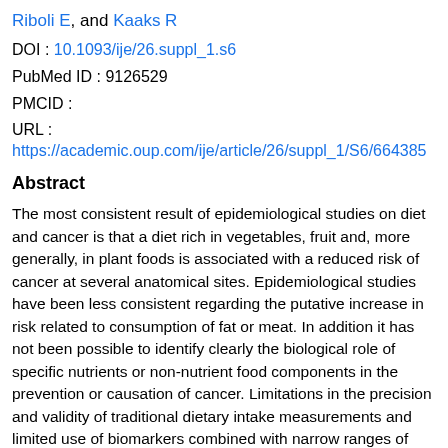Riboli E, and Kaaks R
DOI : 10.1093/ije/26.suppl_1.s6
PubMed ID : 9126529
PMCID :
URL :
https://academic.oup.com/ije/article/26/suppl_1/S6/664385
Abstract
The most consistent result of epidemiological studies on diet and cancer is that a diet rich in vegetables, fruit and, more generally, in plant foods is associated with a reduced risk of cancer at several anatomical sites. Epidemiological studies have been less consistent regarding the putative increase in risk related to consumption of fat or meat. In addition it has not been possible to identify clearly the biological role of specific nutrients or non-nutrient food components in the prevention or causation of cancer. Limitations in the precision and validity of traditional dietary intake measurements and limited use of biomarkers combined with narrow ranges of variations in